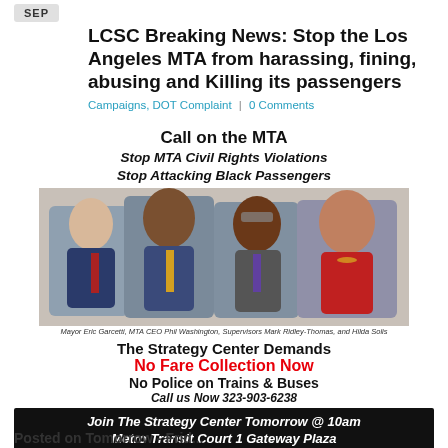SEP
LCSC Breaking News: Stop the Los Angeles MTA from harassing, fining, abusing and Killing its passengers
Campaigns, DOT Complaint | 0 Comments
[Figure (infographic): Call on the MTA campaign poster. Text reads: 'Call on the MTA / Stop MTA Civil Rights Violations / Stop Attacking Black Passengers'. Shows group photo of Mayor Eric Garcetti, MTA CEO Phil Washington, Supervisors Mark Ridley-Thomas, and Hilda Solis. Below: 'The Strategy Center Demands / No Fare Collection Now / No Police on Trains & Buses / Call us Now 323-903-6238'. Black bar at bottom: 'Join The Strategy Center Tomorrow @ 10am / Metro Transit Court 1 Gateway Plaza']
Posted on Tomorrow - Frid...